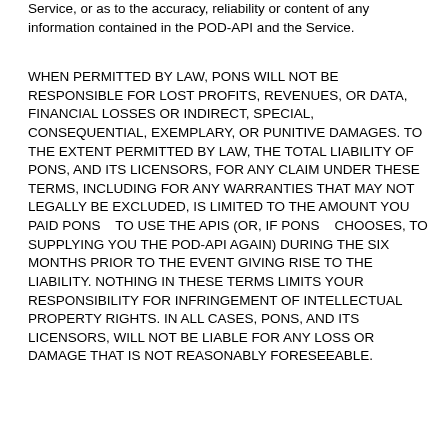Service, or as to the accuracy, reliability or content of any information contained in the POD-API and the Service.
WHEN PERMITTED BY LAW, PONS WILL NOT BE RESPONSIBLE FOR LOST PROFITS, REVENUES, OR DATA, FINANCIAL LOSSES OR INDIRECT, SPECIAL, CONSEQUENTIAL, EXEMPLARY, OR PUNITIVE DAMAGES. TO THE EXTENT PERMITTED BY LAW, THE TOTAL LIABILITY OF   PONS, AND ITS LICENSORS, FOR ANY CLAIM UNDER THESE TERMS, INCLUDING FOR ANY WARRANTIES THAT MAY NOT LEGALLY BE EXCLUDED, IS LIMITED TO THE AMOUNT YOU PAID PONS   TO USE THE APIS (OR, IF PONS   CHOOSES, TO SUPPLYING YOU THE POD-API AGAIN) DURING THE SIX MONTHS PRIOR TO THE EVENT GIVING RISE TO THE LIABILITY. NOTHING IN THESE TERMS LIMITS YOUR RESPONSIBILITY FOR INFRINGEMENT OF INTELLECTUAL PROPERTY RIGHTS. IN ALL CASES, PONS, AND ITS LICENSORS, WILL NOT BE LIABLE FOR ANY LOSS OR DAMAGE THAT IS NOT REASONABLY FORESEEABLE.